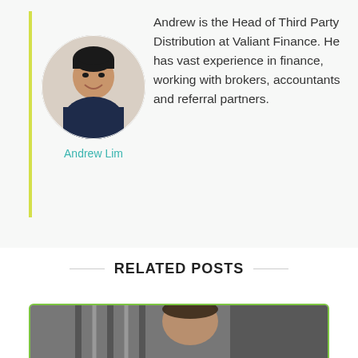[Figure (photo): Circular headshot photo of Andrew Lim, a man smiling in a dark navy t-shirt against a stone wall background]
Andrew Lim
Andrew is the Head of Third Party Distribution at Valiant Finance. He has vast experience in finance, working with brokers, accountants and referral partners.
RELATED POSTS
[Figure (photo): Partial photo of a person, cropped at the bottom of the page, showing upper body]